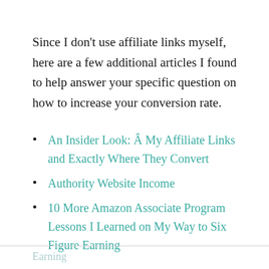Since I don't use affiliate links myself, here are a few additional articles I found to help answer your specific question on how to increase your conversion rate.
An Insider Look: Â My Affiliate Links and Exactly Where They Convert
Authority Website Income
10 More Amazon Associate Program Lessons I Learned on My Way to Six Figure Earning
Earning